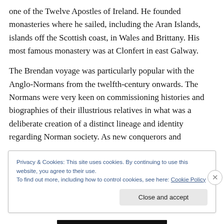one of the Twelve Apostles of Ireland.  He founded monasteries where he sailed, including the Aran Islands, islands off the Scottish coast, in Wales and Brittany.  His most famous monastery was at Clonfert in east Galway.
The Brendan voyage was particularly popular with the Anglo-Normans from the twelfth-century onwards.  The Normans were very keen on commissioning histories and biographies of their illustrious relatives in what was a deliberate creation of a distinct lineage and identity regarding Norman society.  As new conquerors and
Privacy & Cookies: This site uses cookies. By continuing to use this website, you agree to their use.
To find out more, including how to control cookies, see here: Cookie Policy